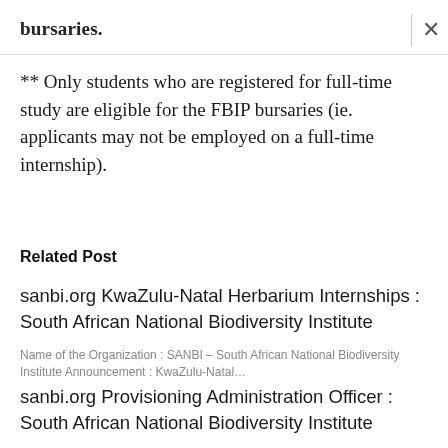bursaries.
** Only students who are registered for full-time study are eligible for the FBIP bursaries (ie. applicants may not be employed on a full-time internship).
Related Post
sanbi.org KwaZulu-Natal Herbarium Internships : South African National Biodiversity Institute
Name of the Organization : SANBI – South African National Biodiversity Institute Announcement : KwaZulu-Natal…
sanbi.org Provisioning Administration Officer : South African National Biodiversity Institute